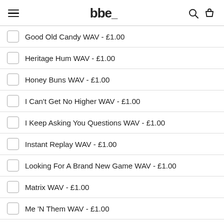bbe
Good Old Candy WAV - £1.00
Heritage Hum WAV - £1.00
Honey Buns WAV - £1.00
I Can't Get No Higher WAV - £1.00
I Keep Asking You Questions WAV - £1.00
Instant Replay WAV - £1.00
Looking For A Brand New Game WAV - £1.00
Matrix WAV - £1.00
Me 'N Them WAV - £1.00
Naturally Good WAV - £1.00
Njia (Nija) Walk WAV - £1.00
One Life WAV - £1.00